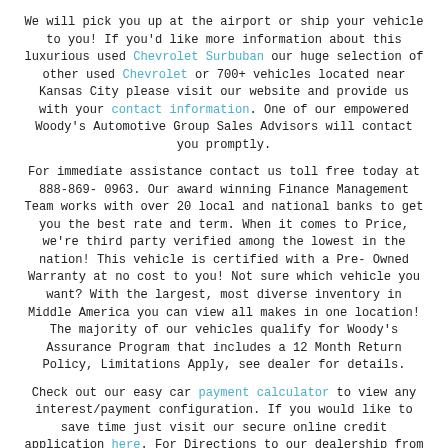We will pick you up at the airport or ship your vehicle to you! If you'd like more information about this luxurious used Chevrolet Surbuban our huge selection of other used Chevrolet or 700+ vehicles located near Kansas City please visit our website and provide us with your contact information. One of our empowered Woody's Automotive Group Sales Advisors will contact you promptly.
For immediate assistance contact us toll free today at 888-869-0963. Our award winning Finance Management Team works with over 20 local and national banks to get you the best rate and term. When it comes to Price, we're third party verified among the lowest in the nation! This vehicle is certified with a Pre-Owned Warranty at no cost to you! Not sure which vehicle you want? With the largest, most diverse inventory in Middle America you can view all makes in one location! The majority of our vehicles qualify for Woody's Assurance Program that includes a 12 Month Return Policy, Limitations Apply, see dealer for details.
Check out our easy car payment calculator to view any interest/payment configuration. If you would like to save time just visit our secure online credit application here. For Directions to our dealership from Kansas City, Columbia, Omaha, Austin, St. Louis, Tulsa, Minneapolis, Topeka, Wichita, Des Moines or Olathe just go here. Come and see why so many car, truck, suv shoppers come from all over the U.S.A. to buy their vehicles at wowwoodys.com and read over 1,000 customer reviews on our website today. Also, watch video customer testimonials from our Wowed customers from all over the country!